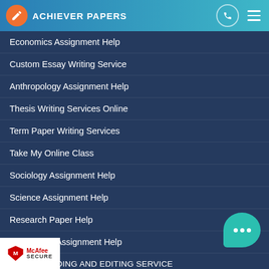[Figure (logo): Achiever Papers logo with orange circle icon and teal gradient header bar, phone icon and hamburger menu on the right]
Economics Assignment Help
Custom Essay Writing Service
Anthropology Assignment Help
Thesis Writing Services Online
Term Paper Writing Services
Take My Online Class
Sociology Assignment Help
Science Assignment Help
Research Paper Help
Psychology Assignment Help
PROOFREADING AND EDITING SERVICE
Political Science Assignment Help
Philosophy Assignment help
Homework Help
[Figure (logo): McAfee SECURE badge at bottom left]
[Figure (illustration): Teal chat bubble with three dots at bottom right]